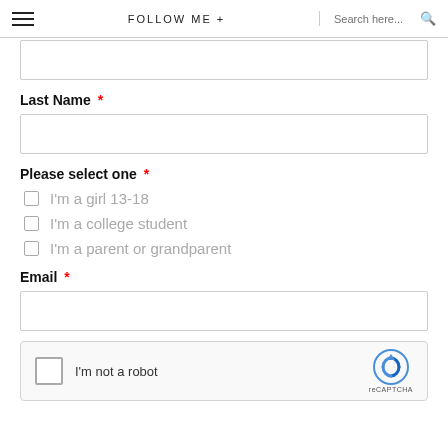FOLLOW ME +   Search here...
(First name input field — empty)
Last Name *
(Last name input field — empty)
Please select one *
I'm a girl 13-18
I'm a college student
I'm a parent or grandparent
Email *
(Email input field — empty)
[Figure (other): reCAPTCHA widget with checkbox labeled 'I'm not a robot' and reCAPTCHA logo on the right]